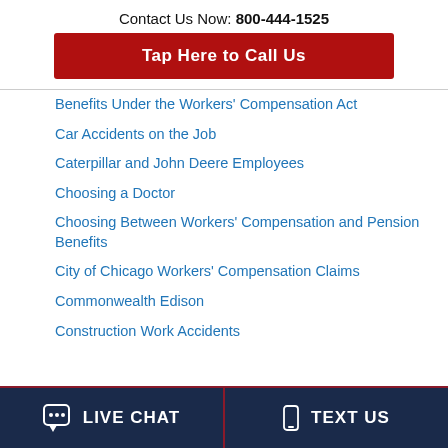Contact Us Now: 800-444-1525
Tap Here to Call Us
Benefits Under the Workers' Compensation Act
Car Accidents on the Job
Caterpillar and John Deere Employees
Choosing a Doctor
Choosing Between Workers' Compensation and Pension Benefits
City of Chicago Workers' Compensation Claims
Commonwealth Edison
Construction Work Accidents
LIVE CHAT   TEXT US